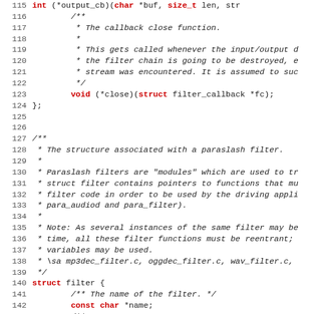[Figure (screenshot): Source code listing in C showing lines 115-147, featuring struct filter_callback with a close function pointer, and the beginning of struct filter definition with documentation comments.]